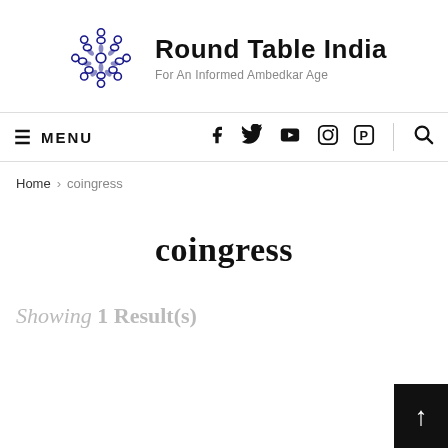[Figure (logo): Round Table India logo: circular arrangement of people figures in dark navy blue, with site name 'Round Table India' and tagline 'For An Informed Ambedkar Age']
≡ MENU  [social icons: Facebook, Twitter, YouTube, Instagram, Pinterest, Search]
Home > coingress
coingress
Showing 1 Result(s)